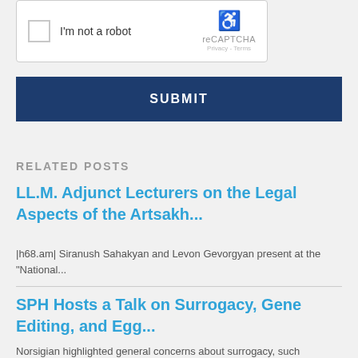[Figure (screenshot): reCAPTCHA widget with checkbox labeled 'I'm not a robot' and reCAPTCHA logo with Privacy and Terms links]
SUBMIT
RELATED POSTS
LL.M. Adjunct Lecturers on the Legal Aspects of the Artsakh...
|h68.am| Siranush Sahakyan and Levon Gevorgyan present at the "National...
SPH Hosts a Talk on Surrogacy, Gene Editing, and Egg...
Norsigian highlighted general concerns about surrogacy, such